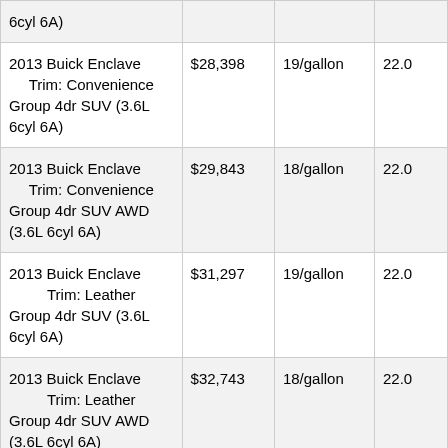| 6cyl 6A) |  |  |  |
| 2013 Buick Enclave
    Trim: Convenience Group 4dr SUV (3.6L 6cyl 6A) | $28,398 | 19/gallon | 22.0 |
| 2013 Buick Enclave
    Trim: Convenience Group 4dr SUV AWD (3.6L 6cyl 6A) | $29,843 | 18/gallon | 22.0 |
| 2013 Buick Enclave
    Trim: Leather Group 4dr SUV (3.6L 6cyl 6A) | $31,297 | 19/gallon | 22.0 |
| 2013 Buick Enclave
    Trim: Leather Group 4dr SUV AWD (3.6L 6cyl 6A) | $32,743 | 18/gallon | 22.0 |